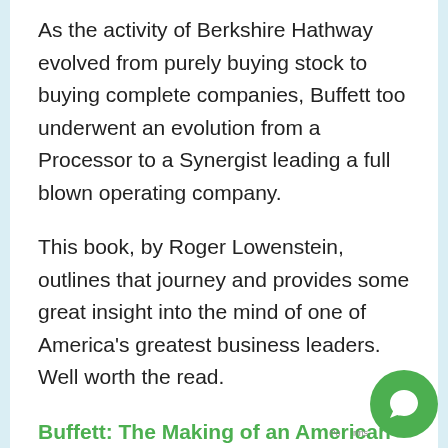As the activity of Berkshire Hathway evolved from purely buying stock to buying complete companies, Buffett too underwent an evolution from a Processor to a Synergist leading a full blown operating company.
This book, by Roger Lowenstein, outlines that journey and provides some great insight into the mind of one of America's greatest business leaders. Well worth the read.
Buffett: The Making of an American Capitalist